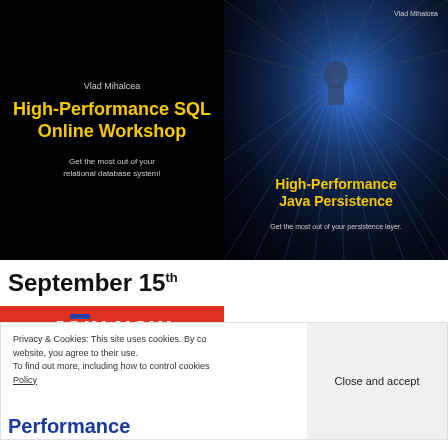[Figure (illustration): Left panel: Black background promotional banner for 'High-Performance SQL Online Workshop' by Vlad Mihalcea with yellow title text and tagline 'Get the most out of your relational database system!']
[Figure (illustration): Right panel: Black background book cover for 'High-Performance Java Persistence' by Vlad Mihalcea with glowing grid/tunnel digital art and yellow title text]
September 15th
JOIN NOW
Privacy & Cookies: This site uses cookies. By continuing to use this website, you agree to their use. To find out more, including how to control cookies, see here: Cookie Policy
Close and accept
Performance